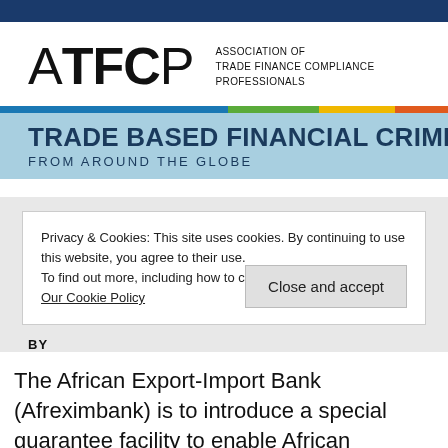[Figure (logo): ATFCP logo with letters A, T, F, C, P and text 'ASSOCIATION OF TRADE FINANCE COMPLIANCE PROFESSIONALS']
TRADE BASED FINANCIAL CRIME FROM AROUND THE GLOBE
Privacy & Cookies: This site uses cookies. By continuing to use this website, you agree to their use. To find out more, including how to control cookies, see here: Our Cookie Policy
BY
The African Export-Import Bank (Afreximbank) is to introduce a special guarantee facility to enable African